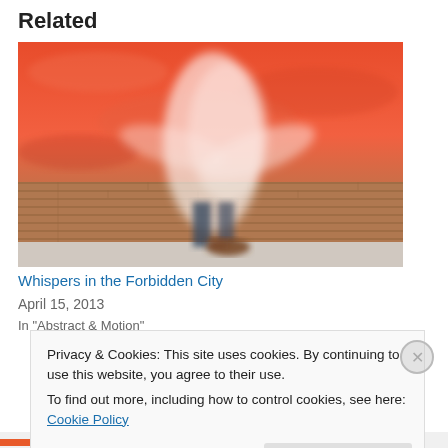Related
[Figure (photo): A motion-blurred figure walking past a brick wall under an orange-red sky]
Whispers in the Forbidden City
April 15, 2013
In "Abstract & Motion"
Privacy & Cookies: This site uses cookies. By continuing to use this website, you agree to their use.
To find out more, including how to control cookies, see here: Cookie Policy